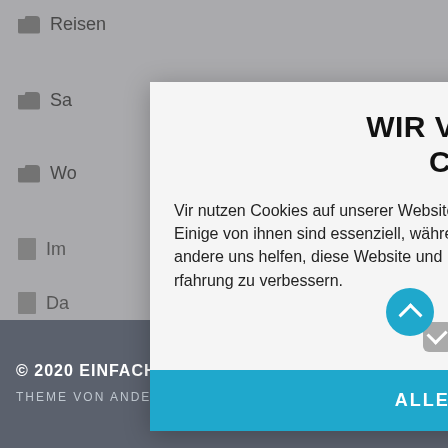[Figure (screenshot): Background of a website with a cookie consent modal dialog overlaying a list of navigation items. The background shows folder/file icons for items like Reisen, Sammlung, Wo, Im, Da. A modal popup says 'WIR VERWENDEN COOKIES' with body text, a checkbox for 'Erforderlich', and a blue 'ALLE AKZEPTIEREN' button. The page footer shows copyright and theme info.]
WIR VERWENDEN COOKIES
Wir nutzen Cookies auf unserer Website. Einige von ihnen sind essenziell, während andere uns helfen, diese Website und Ihre Erfahrung zu verbessern.
Erforderlich
ALLE AKZEPTIEREN
© 2020 EINFACH BESSERDRAUF.COM
THEME VON ANDERS NORÉN